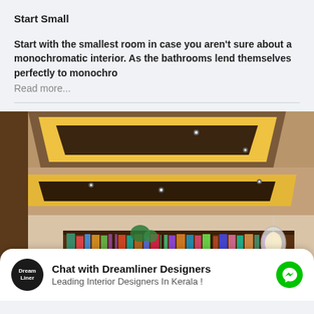Start Small
Start with the smallest room in case you aren't sure about a monochromatic interior. As the bathrooms lend themselves perfectly to monochro
Read more...
[Figure (photo): Interior design photo showing a modern room with an elaborate false ceiling featuring warm yellow LED cove lighting panels, recessed spotlights, dark wood bookshelves along the back wall filled with books, and a lantern pendant light hanging in the corner.]
Chat with Dreamliner Designers
Leading Interior Designers In Kerala !